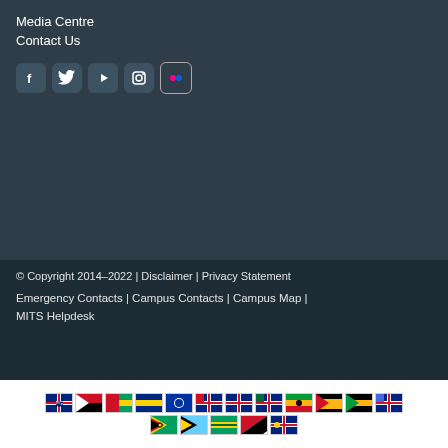Media Centre
Contact Us
[Figure (infographic): Social media icons: Facebook, Twitter, YouTube, Instagram, Flickr]
© Copyright 2014-2022 | Disclaimer | Privacy Statement
Emergency Contacts | Campus Contacts | Campus Map | MITS Helpdesk
[Figure (infographic): Two rows of Caribbean country flags]